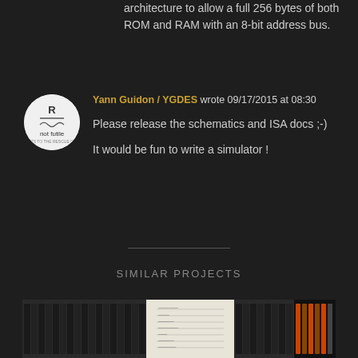architecture to allow a full 256 bytes of both ROM and RAM with an 8-bit address bus.
Yann Guidon / YGDES wrote 09/17/2015 at 08:30
Please release the schematics and ISA docs ;-)
It would be fun to write a simulator !
SIMILAR PROJECTS
[Figure (photo): Row of books or binders on shelves, with a handwritten note page and electronic components visible]